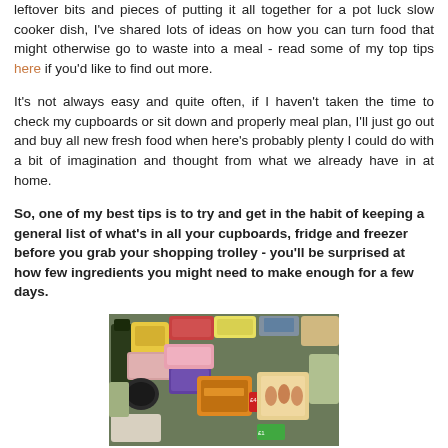leftover bits and pieces of putting it all together for a pot luck slow cooker dish, I've shared lots of ideas on how you can turn food that might otherwise go to waste into a meal - read some of my top tips here if you'd like to find out more.
It's not always easy and quite often, if I haven't taken the time to check my cupboards or sit down and properly meal plan, I'll just go out and buy all new fresh food when here's probably plenty I could do with a bit of imagination and thought from what we already have in at home.
So, one of my best tips is to try and get in the habit of keeping a general list of what's in all your cupboards, fridge and freezer before you grab your shopping trolley - you'll be surprised at how few ingredients you might need to make enough for a few days.
[Figure (photo): A photo of grocery store items on a checkout conveyor belt or surface, including various packaged foods, meats, bread products, and other items with price tags visible.]